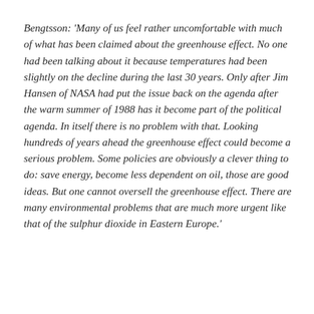Bengtsson: 'Many of us feel rather uncomfortable with much of what has been claimed about the greenhouse effect. No one had been talking about it because temperatures had been slightly on the decline during the last 30 years. Only after Jim Hansen of NASA had put the issue back on the agenda after the warm summer of 1988 has it become part of the political agenda. In itself there is no problem with that. Looking hundreds of years ahead the greenhouse effect could become a serious problem. Some policies are obviously a clever thing to do: save energy, become less dependent on oil, those are good ideas. But one cannot oversell the greenhouse effect. There are many environmental problems that are much more urgent like that of the sulphur dioxide in Eastern Europe.'